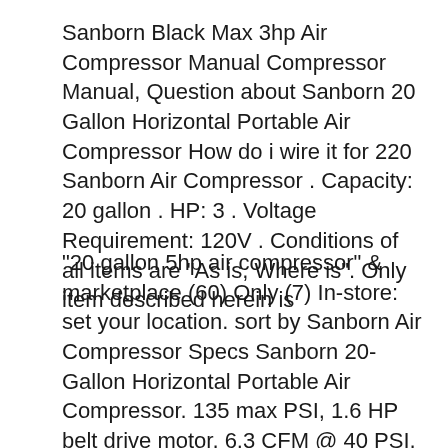Sanborn Black Max 3hp Air Compressor Manual Compressor Manual, Question about Sanborn 20 Gallon Horizontal Portable Air Compressor How do i wire it for 220 Sanborn Air Compressor . Capacity: 20 gallon . HP: 3 . Voltage Requirement: 120V . Conditions of all items are "As is, Where is". Only item described herein is
"20 gallon 5hp air compressor" & marketplace (60) Only (7) In-store: set your location. sort by Sanborn Air Compressor Specs Sanborn 20-Gallon Horizontal Portable Air Compressor. 135 max PSI, 1.6 HP belt drive motor, 6.3 CFM @ 40 PSI, 5.5 CFM @ 90 PSI, 20-